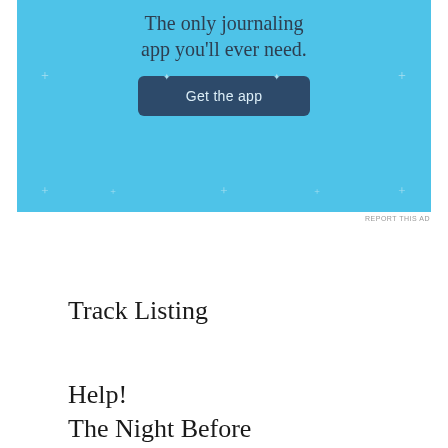[Figure (screenshot): Advertisement banner for a journaling app with light blue background. Text reads 'The only journaling app you'll ever need.' with a dark blue 'Get the app' button.]
REPORT THIS AD
Track Listing
Help!
The Night Before
You’ve Got To Hide Your Love Away
I Need You
Another Girl
You’re Going To Lose That Girl
Ticket To Ride
Act Naturally